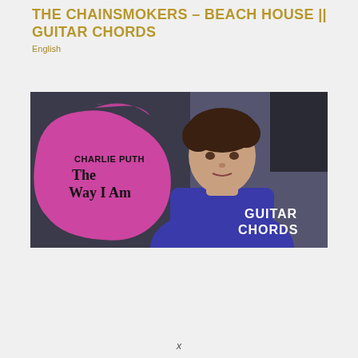THE CHAINSMOKERS – BEACH HOUSE || GUITAR CHORDS
English
[Figure (illustration): Album art style image showing Charlie Puth – The Way I Am, with a young man in a blue shirt on a dark background, a pink paint-splash overlay on the left with text 'CHARLIE PUTH The Way I Am', and white bold text 'GUITAR CHORDS' on the bottom right.]
x